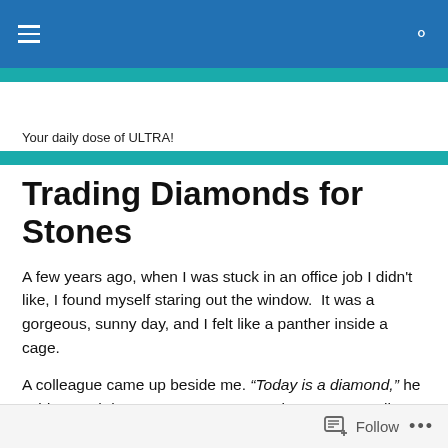Navigation bar with hamburger menu and search icon
Your daily dose of ULTRA!
Trading Diamonds for Stones
A few years ago, when I was stuck in an office job I didn’t like, I found myself staring out the window.  It was a gorgeous, sunny day, and I felt like a panther inside a cage.
A colleague came up beside me. “Today is a diamond,” he said.  “Workdays are stones.  You and me, we’re trading diamonds for stones.”
Follow …